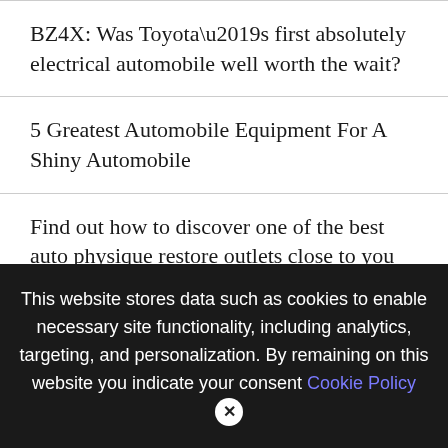BZ4X: Was Toyota’s first absolutely electrical automobile well worth the wait?
5 Greatest Automobile Equipment For A Shiny Automobile
Find out how to discover one of the best auto physique restore outlets close to you
Airbags In New Automotive Did Not Deploy After A Crash. Netizens Speculate Why
We use cookies on our website to give you the most relevant experience by remembering your preferences and repeat visits. By clicking “Accept All”, you consent to the use of ALL the cookies. However, you may visit “Cookie Settings” to provide a controlled consent.
This website stores data such as cookies to enable necessary site functionality, including analytics, targeting, and personalization. By remaining on this website you indicate your consent Cookie Policy ×